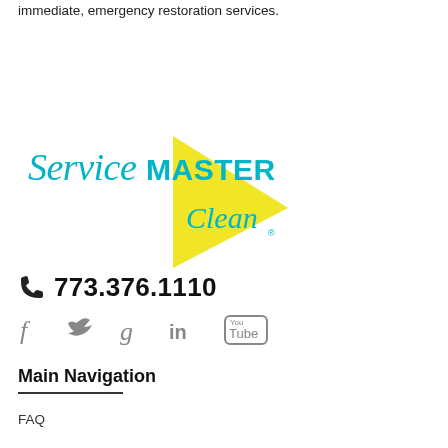immediate, emergency restoration services.
[Figure (logo): ServiceMaster Clean logo with yellow triangle/arrow and teal text]
📞 773.376.1110
[Figure (infographic): Social media icons: Facebook, Twitter, Google+, LinkedIn, YouTube]
Main Navigation
FAQ